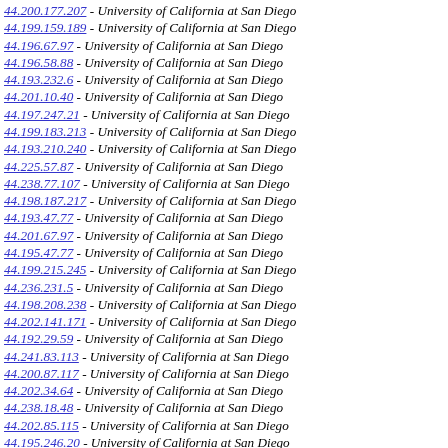44.200.177.207 - University of California at San Diego
44.199.159.189 - University of California at San Diego
44.196.67.97 - University of California at San Diego
44.196.58.88 - University of California at San Diego
44.193.232.6 - University of California at San Diego
44.201.10.40 - University of California at San Diego
44.197.247.21 - University of California at San Diego
44.199.183.213 - University of California at San Diego
44.193.210.240 - University of California at San Diego
44.225.57.87 - University of California at San Diego
44.238.77.107 - University of California at San Diego
44.198.187.217 - University of California at San Diego
44.193.47.77 - University of California at San Diego
44.201.67.97 - University of California at San Diego
44.195.47.77 - University of California at San Diego
44.199.215.245 - University of California at San Diego
44.236.231.5 - University of California at San Diego
44.198.208.238 - University of California at San Diego
44.202.141.171 - University of California at San Diego
44.192.29.59 - University of California at San Diego
44.241.83.113 - University of California at San Diego
44.200.87.117 - University of California at San Diego
44.202.34.64 - University of California at San Diego
44.238.18.48 - University of California at San Diego
44.202.85.115 - University of California at San Diego
44.195.246.20 - University of California at San Diego
44.202.88.118 - University of California at San Diego
44.202.50.80 - University of California at San Diego
44.200.135.165 - University of California at San Diego
44.233.83.113 - University of California at San Diego